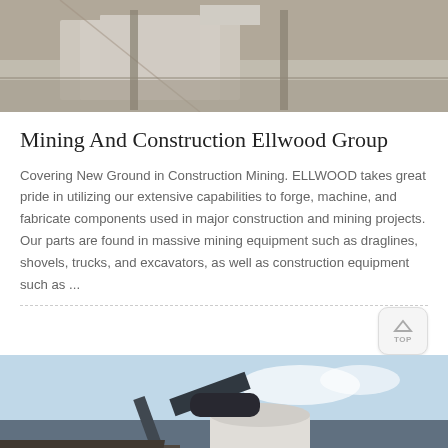[Figure (photo): Top portion of a construction or mining site photo, showing concrete blocks and structural elements against a light background]
Mining And Construction Ellwood Group
Covering New Ground in Construction Mining. ELLWOOD takes great pride in utilizing our extensive capabilities to forge, machine, and fabricate components used in major construction and mining projects. Our parts are found in massive mining equipment such as draglines, shovels, trucks, and excavators, as well as construction equipment such as ...
[Figure (photo): Industrial equipment photo showing a large cylindrical tank and conveyor or pipe structures against a cloudy sky, with rocky terrain and roofing visible]
[Figure (infographic): Orange chat bar at the bottom with a customer service representative avatar on the left, Message button on the left section and Online Chat button with headset icon on the right section]